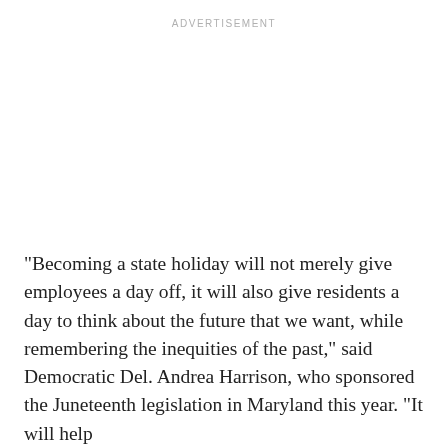ADVERTISEMENT
"Becoming a state holiday will not merely give employees a day off, it will also give residents a day to think about the future that we want, while remembering the inequities of the past," said Democratic Del. Andrea Harrison, who sponsored the Juneteenth legislation in Maryland this year. "It will help